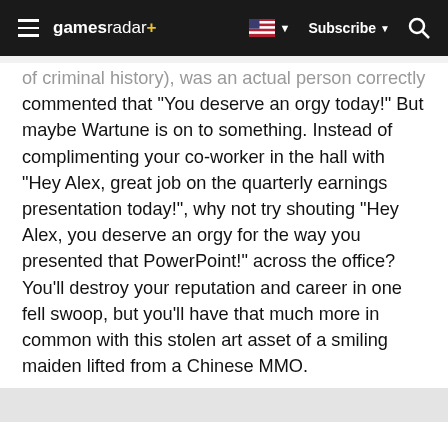gamesradar+ Subscribe
of criminal history), was an actual person correctly commented that "You deserve an orgy today!" But maybe Wartune is on to something. Instead of complimenting your co-worker in the hall with "Hey Alex, great job on the quarterly earnings presentation today!", why not try shouting "Hey Alex, you deserve an orgy for the way you presented that PowerPoint!" across the office? You'll destroy your reputation and career in one fell swoop, but you'll have that much more in common with this stolen art asset of a smiling maiden lifted from a Chinese MMO.